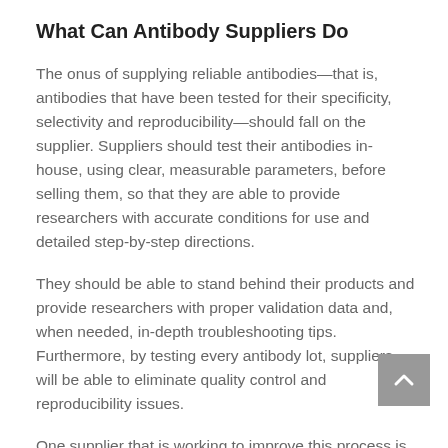What Can Antibody Suppliers Do
The onus of supplying reliable antibodies—that is, antibodies that have been tested for their specificity, selectivity and reproducibility—should fall on the supplier. Suppliers should test their antibodies in-house, using clear, measurable parameters, before selling them, so that they are able to provide researchers with accurate conditions for use and detailed step-by-step directions.
They should be able to stand behind their products and provide researchers with proper validation data and, when needed, in-depth troubleshooting tips. Furthermore, by testing every antibody lot, suppliers will be able to eliminate quality control and reproducibility issues.
One supplier that is working to improve this process is One World Lab. OWL represents manufacturers and their unique